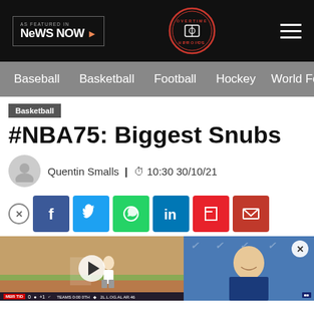AS FEATURED IN NEWS NOW > | Overtime Heroics logo | Hamburger menu
Baseball  Basketball  Football  Hockey  World Foot
Basketball
#NBA75: Biggest Snubs
Quentin Smalls | 10:30 30/10/21
[Figure (screenshot): Social share buttons row: Facebook, Twitter, WhatsApp, LinkedIn, Flipboard, Email]
[Figure (photo): Two image previews side by side: left shows a baseball player on a field with a play button overlay and a score bar at the bottom; right shows a smiling basketball player at a Nike-branded press conference with a close button overlay]